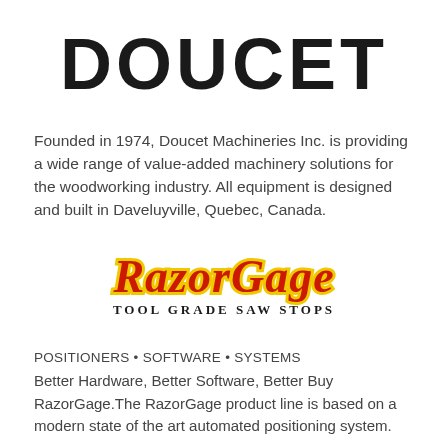DOUCET
Founded in 1974, Doucet Machineries Inc. is providing a wide range of value-added machinery solutions for the woodworking industry. All equipment is designed and built in Daveluyville, Quebec, Canada.
[Figure (logo): RazorGage logo with red stylized text 'RazorGage' and yellow outline, subtitle 'Tool Grade Saw Stops' in black serif capitals]
POSITIONERS • SOFTWARE • SYSTEMS
Better Hardware, Better Software, Better Buy RazorGage.The RazorGage product line is based on a modern state of the art automated positioning system.